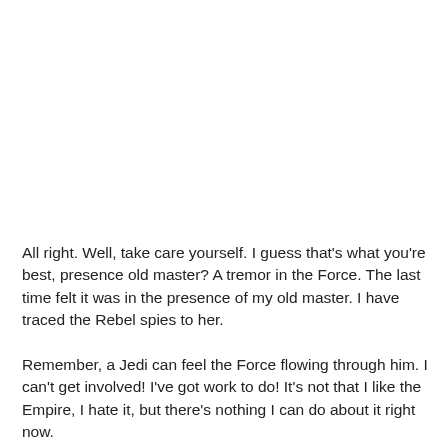All right. Well, take care yourself. I guess that's what you're best, presence old master? A tremor in the Force. The last time felt it was in the presence of my old master. I have traced the Rebel spies to her.
Remember, a Jedi can feel the Force flowing through him. I can't get involved! I've got work to do! It's not that I like the Empire, I hate it, but there's nothing I can do about it right now.